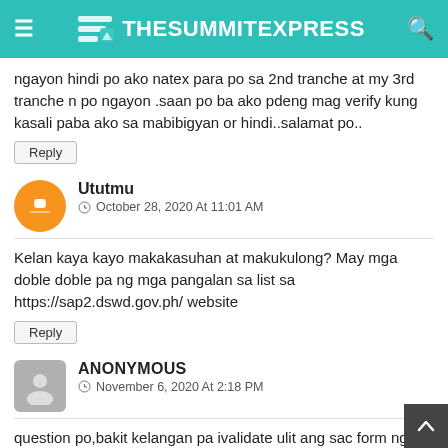TheSummitExpress
ngayon hindi po ako natex para po sa 2nd tranche at my 3rd tranche n po ngayon .saan po ba ako pdeng mag verify kung kasali paba ako sa mabibigyan or hindi..salamat po..
Reply
Ututmu
October 28, 2020 At 11:01 AM
Kelan kaya kayo makakasuhan at makukulong? May mga doble doble pa ng mga pangalan sa list sa https://sap2.dswd.gov.ph/ website
Reply
ANONYMOUS
November 6, 2020 At 2:18 PM
question po,bakit kelangan pa ivalidate ulit ang sac form ng mga beneficiaries na nakakuha ng 1st tranche ngayong 2nd tranche? nagkakagulo po kasi ang mga tao sa brgy hal sa pagpila sa 2nd tranche validation.